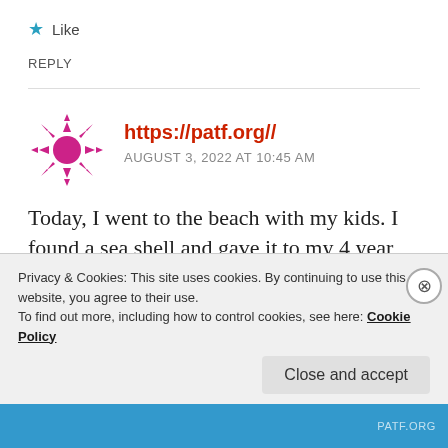★ Like
REPLY
https://patf.org//
AUGUST 3, 2022 AT 10:45 AM
Today, I went to the beach with my kids. I found a sea shell and gave it to my 4 year old daughter and said "You can hear the ocean if you put this to your ear." She
Privacy & Cookies: This site uses cookies. By continuing to use this website, you agree to their use.
To find out more, including how to control cookies, see here: Cookie Policy
Close and accept